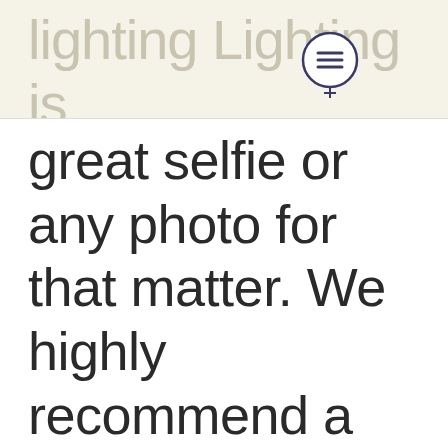lighting Lighting is absolutely key to a
great selfie or any photo for that matter. We highly recommend a ring light for indoor selfies, or going